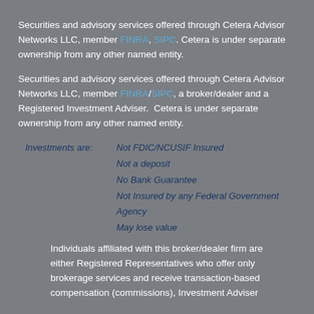Securities and advisory services offered through Cetera Advisor Networks LLC, member FINRA, SIPC. Cetera is under separate ownership from any other named entity.
Securities and advisory services offered through Cetera Advisor Networks LLC, member FINRA/SIPC, a broker/dealer and a Registered Investment Adviser.  Cetera is under separate ownership from any other named entity.
Investments are: Not FDIC/NCUSIF Insured
Not a deposit
No Bank Guarantee
Not Insured by any Federal Government Agency
May lose value
Individuals affiliated with this broker/dealer firm are either Registered Representatives who offer only brokerage services and receive transaction-based compensation (commissions), Investment Adviser